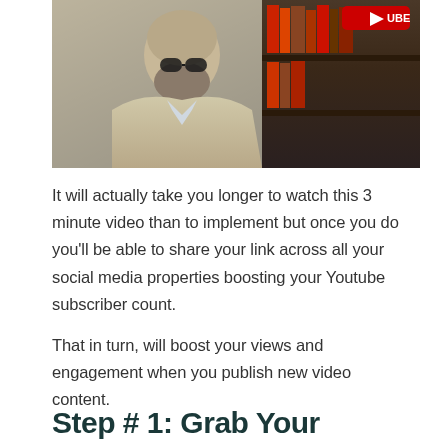[Figure (photo): A bearded man wearing a khaki jacket, photographed from the shoulders up, with a dark bookshelf visible in the background. A YouTube logo badge is visible in the upper right area of the image.]
It will actually take you longer to watch this 3 minute video than to implement but once you do you'll be able to share your link across all your social media properties boosting your Youtube subscriber count.
That in turn, will boost your views and engagement when you publish new video content.
Step # 1: Grab Your